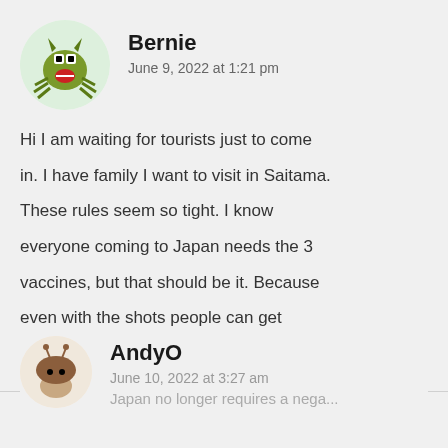[Figure (illustration): Cartoon monster avatar for Bernie — green spiky creature with horns, bug eyes, red mouth, and claw legs on a light green circular background]
Bernie
June 9, 2022 at 1:21 pm
Hi I am waiting for tourists just to come in. I have family I want to visit in Saitama. These rules seem so tight. I know everyone coming to Japan needs the 3 vaccines, but that should be it. Because even with the shots people can get Covid anyway, so why make it so hard for people to come
Reply
[Figure (illustration): Cartoon mushroom/bug avatar for AndyO — brown rounded creature with small antennae on a light background]
AndyO
June 10, 2022 at 3:27 am
Japan no longer requires a nega...